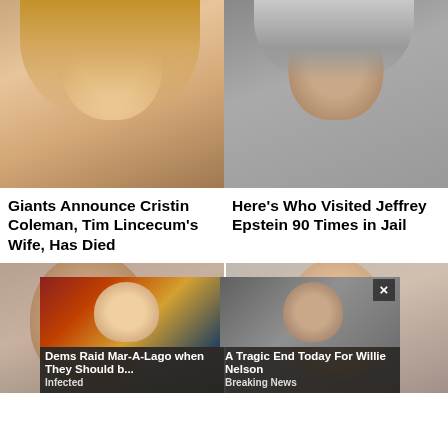[Figure (photo): Smiling blonde woman, head and shoulders portrait with warm bokeh background]
[Figure (photo): Older man in dark suit, serious expression, grey hair, looking slightly to the side]
Giants Announce Cristin Coleman, Tim Lincecum's Wife, Has Died
Here's Who Visited Jeffrey Epstein 90 Times in Jail
[Figure (photo): Close-up of man's face, dark/greying hair, heavyset features]
[Figure (photo): Partial view of person with dark curly hair]
[Figure (photo): Ad thumbnail: Trump at desk in Oval Office]
Dems Raid Mar-A-Lago when They Should b...
Infected
[Figure (photo): Ad thumbnail: Willie Nelson, older man with long hair]
A Tragic End Today For Willie Nelson
Breaking News